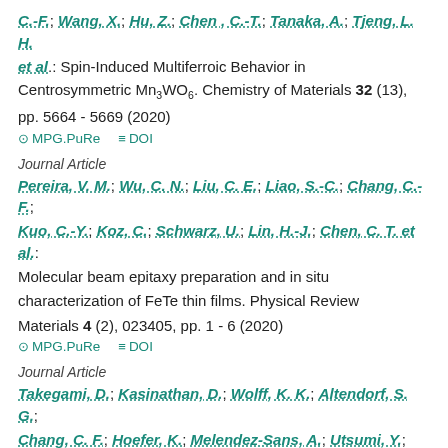C.-F.; Wang, X.; Hu, Z.; Chen, C.-T.; Tanaka, A.; Tjeng, L. H. et al.: Spin-Induced Multiferroic Behavior in Centrosymmetric Mn3WO6. Chemistry of Materials 32 (13), pp. 5664 - 5669 (2020)
MPG.PuRe   DOI
Journal Article
Pereira, V. M.; Wu, C. N.; Liu, C. E.; Liao, S.-C.; Chang, C.-F.; Kuo, C.-Y.; Koz, C.; Schwarz, U.; Lin, H.-J.; Chen, C. T. et al.: Molecular beam epitaxy preparation and in situ characterization of FeTe thin films. Physical Review Materials 4 (2), 023405, pp. 1 - 6 (2020)
MPG.PuRe   DOI
Journal Article
Takegami, D.; Kasinathan, D.; Wolff, K. K.; Altendorf, S. G.; Chang, C. F.; Hoefer, K.; Melendez-Sans, A.; Utsumi, Y.;